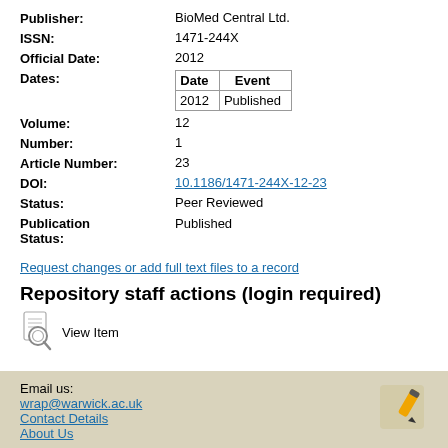| Field | Value |
| --- | --- |
| Publisher: | BioMed Central Ltd. |
| ISSN: | 1471-244X |
| Official Date: | 2012 |
| Dates: | Date / Event / 2012 / Published |
| Volume: | 12 |
| Number: | 1 |
| Article Number: | 23 |
| DOI: | 10.1186/1471-244X-12-23 |
| Status: | Peer Reviewed |
| Publication Status: | Published |
Request changes or add full text files to a record
Repository staff actions (login required)
View Item
Email us: wrap@warwick.ac.uk | Contact Details | About Us